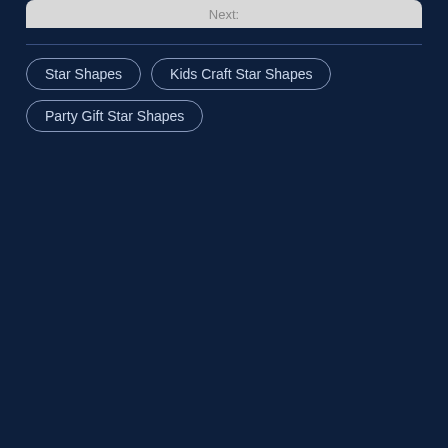Next:
Star Shapes
Kids Craft Star Shapes
Party Gift Star Shapes